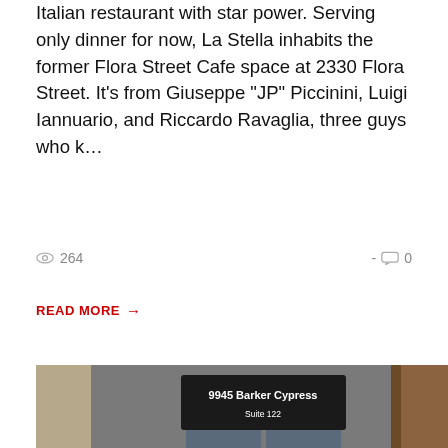Italian restaurant with star power. Serving only dinner for now, La Stella inhabits the former Flora Street Cafe space at 2330 Flora Street. It's from Giuseppe "JP" Piccinini, Luigi Iannuario, and Riccardo Ravaglia, three guys who k…
264 views · 0 comments
READ MORE →
[Figure (photo): Group photo of eight people standing in front of a building entrance with a sign reading '9945 Barker Cypress, Suite 122'. The group includes men and women dressed in various outfits including chef whites, black uniforms, and business casual attire.]